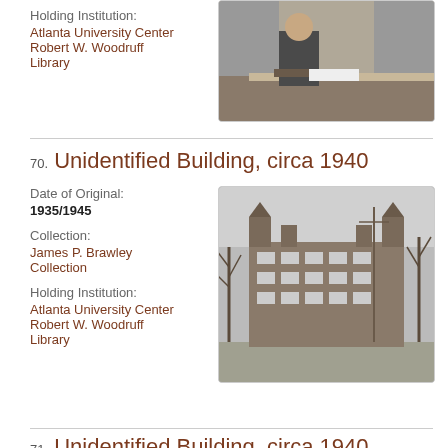Holding Institution: Atlanta University Center Robert W. Woodruff Library
[Figure (photo): Black and white photo of a man sitting at a desk writing]
70. Unidentified Building, circa 1940
Date of Original: 1935/1945
Collection: James P. Brawley Collection
Holding Institution: Atlanta University Center Robert W. Woodruff Library
[Figure (photo): Black and white photo of a large academic building with bare trees in foreground]
71. Unidentified Building, circa 1940